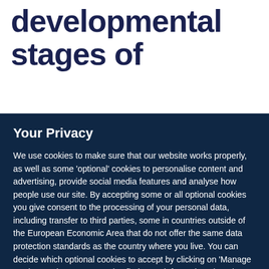developmental stages of
Your Privacy
We use cookies to make sure that our website works properly, as well as some 'optional' cookies to personalise content and advertising, provide social media features and analyse how people use our site. By accepting some or all optional cookies you give consent to the processing of your personal data, including transfer to third parties, some in countries outside of the European Economic Area that do not offer the same data protection standards as the country where you live. You can decide which optional cookies to accept by clicking on 'Manage Settings', where you can also find more information about how your personal data is processed. Further information can be found in our privacy policy.
Accept all cookies
Manage preferences